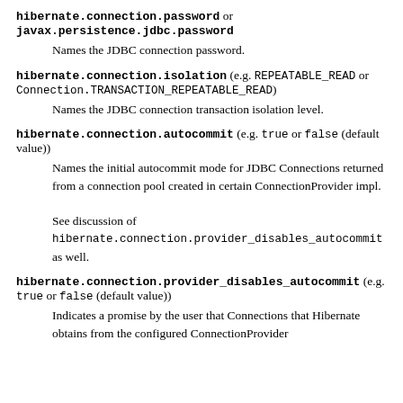hibernate.connection.password or javax.persistence.jdbc.password
Names the JDBC connection password.
hibernate.connection.isolation (e.g. REPEATABLE_READ or Connection.TRANSACTION_REPEATABLE_READ)
Names the JDBC connection transaction isolation level.
hibernate.connection.autocommit (e.g. true or false (default value))
Names the initial autocommit mode for JDBC Connections returned from a connection pool created in certain ConnectionProvider impl.
See discussion of hibernate.connection.provider_disables_autocommit as well.
hibernate.connection.provider_disables_autocommit (e.g. true or false (default value))
Indicates a promise by the user that Connections that Hibernate obtains from the configured ConnectionProvider